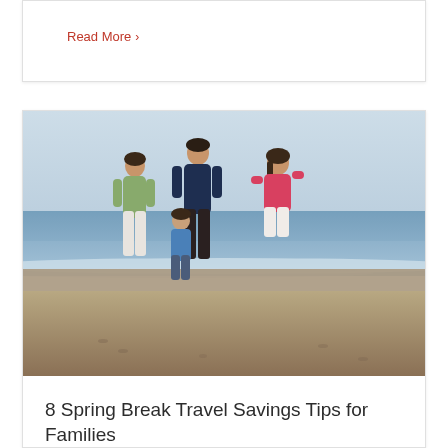Read More >
[Figure (photo): Family of four running on a beach. A woman in a green top and white capris, a man in a navy shirt, a young boy in a blue shirt, and a girl in a pink tank top running along the shoreline with ocean waves in the background.]
8 Spring Break Travel Savings Tips for Families